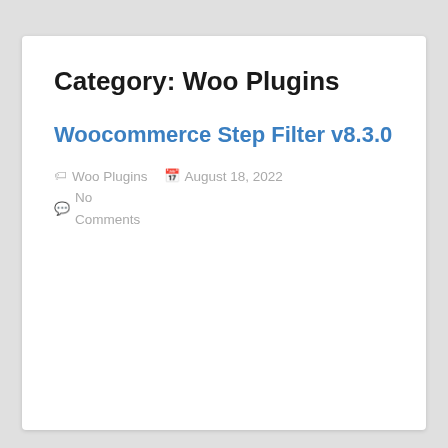Category: Woo Plugins
Woocommerce Step Filter v8.3.0
Woo Plugins   August 18, 2022   No Comments